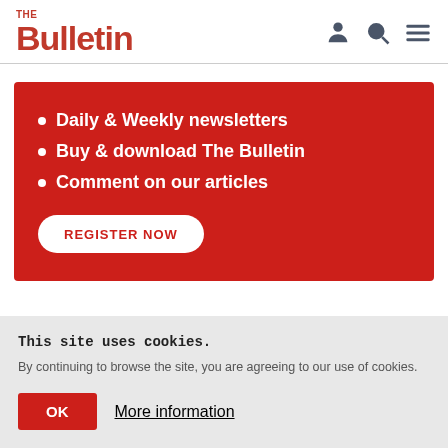THE Bulletin — navigation header with user, search, and menu icons
Daily & Weekly newsletters
Buy & download The Bulletin
Comment on our articles
REGISTER NOW
This site uses cookies.
By continuing to browse the site, you are agreeing to our use of cookies.
OK   More information